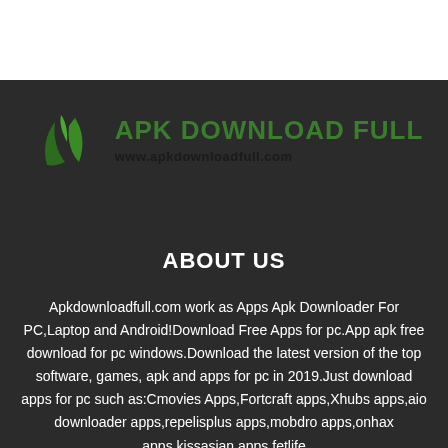[Figure (logo): APK Download Full logo with green leaf icon and website URL www.apkdownloadfull.com]
ABOUT US
Apkdownloadfull.com work as Apps Apk Downloader For PC,Laptop and Android!Download Free Apps for pc.App apk free download for pc windows.Download the latest version of the top software, games, apk and apps for pc in 2019.Just download apps for pc such as:Cmovies Apps,Fortcraft apps,Xhubs apps,aio downloader apps,repelisplus apps,mobdro apps,onhax apps,kissasian apps,fetlife